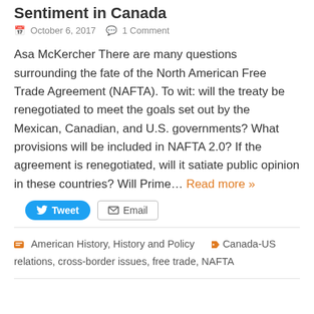Sentiment in Canada
October 6, 2017  1 Comment
Asa McKercher There are many questions surrounding the fate of the North American Free Trade Agreement (NAFTA). To wit: will the treaty be renegotiated to meet the goals set out by the Mexican, Canadian, and U.S. governments? What provisions will be included in NAFTA 2.0? If the agreement is renegotiated, will it satiate public opinion in these countries? Will Prime… Read more »
Tweet  Email
American History, History and Policy  Canada-US relations, cross-border issues, free trade, NAFTA